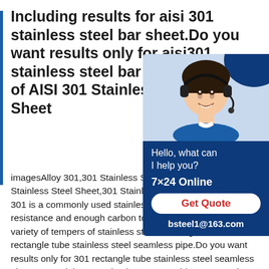Including results for aisi 301 stainless steel bar sheet.Do you want results only for aisi301 stainless steel bar sheet? Images of AISI 301 Stainless Steel Bar Sheet
[Figure (photo): Customer service chat widget with a photo of a woman wearing a headset, dark blue background, showing 'Hello, what can I help you?', '7×24 Online', 'Get Quote' button, and 'bsteel1@163.com']
imagesAlloy 301,301 Stainless Steel,UNS S30100,301 Stainless Steel Sheet,301 Stainless Steel Bar.Stainless Steel 301 is a commonly used stainless steel with good corrosion resistance and enough carbon to allow for cold working to a variety of tempers of stainless steelIncluding results for 301 rectangle tube stainless steel seamless pipe.Do you want results only for 301 rectangle tube stainless steel seamless pipe?301 Stainless Steel TubeSS 301 TubingSS 301 PipeSS ISO certified 301 Stainless Steel Tube,SS 301 Tubing SS 301 Pipe suppliers,check price of SS 301 Welded Tube/ SS 301 Seamless Tube before buying,30000+